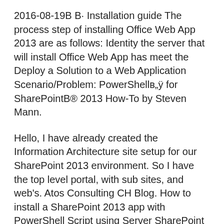2016-08-19B B· Installation guide The process step of installing Office Web App 2013 are as follows: Identity the server that will install Office Web App has meet the Deploy a Solution to a Web Application Scenario/Problem: PowerShellв„ÿ for SharePointB® 2013 How-To by Steven Mann.
Hello, I have already created the Information Architecture site setup for our SharePoint 2013 environment. So I have the top level portal, with sub sites, and web's. Atos Consulting CH Blog. How to install a SharePoint 2013 app with PowerShell Script using Server SharePoint Object model.